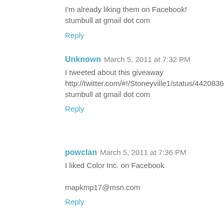I'm already liking them on Facebook!
stumbull at gmail dot com
Reply
Unknown  March 5, 2011 at 7:32 PM
I tweeted about this giveaway http://twitter.com/#!/Stoneyville1/status/44208369455742976
stumbull at gmail dot com
Reply
powclan  March 5, 2011 at 7:36 PM
I liked Color Inc. on Facebook

mapkmp17@msn.com
Reply